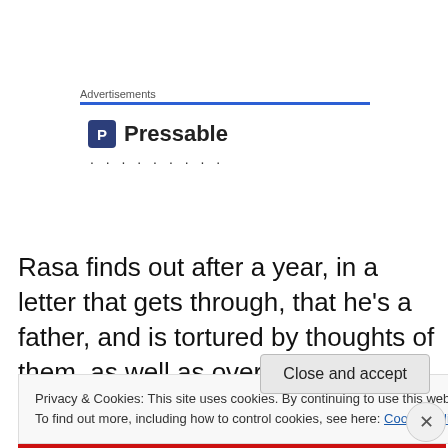Advertisements
[Figure (logo): Pressable logo with blue square icon containing letter P and dots below]
Rasa finds out after a year, in a letter that gets through, that he's a father, and is tortured by thoughts of them, as well as overjoyed by the news itself. That's until the plague hits and reduces the workers by half…then they get a
Privacy & Cookies: This site uses cookies. By continuing to use this website, you agree to their use.
To find out more, including how to control cookies, see here: Cookie Policy
Close and accept